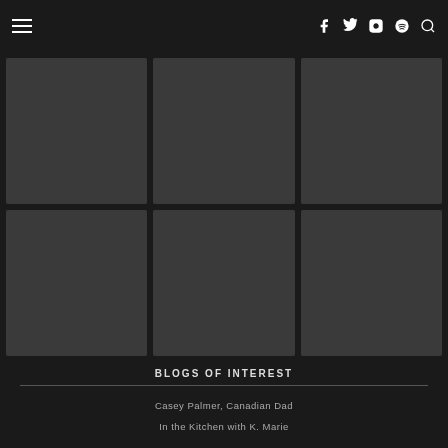Navigation header with hamburger menu and social icons (Facebook, Twitter, Instagram, Spotify, Search)
[Figure (photo): 3x2 grid of six dark gray placeholder image tiles]
BLOGS OF INTEREST
Casey Palmer, Canadian Dad
In the Kitchen with K. Marie